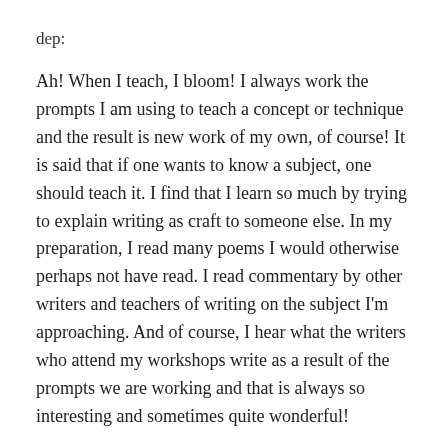dep:
Ah!  When I teach, I bloom!  I always work the prompts I am using to teach a concept or technique and the result is new work of my own, of course! It is said that if one wants to know a subject, one should teach it.  I find that I learn so much by trying to explain writing as craft to someone else.  In my preparation, I read many poems I would otherwise perhaps not have read.  I read commentary by other writers and teachers of writing on the subject I'm approaching.  And of course, I hear what the writers who attend my workshops write as a result of the prompts we are working and that is always so interesting and sometimes quite wonderful!
In The Art of Writing workshop series we have approached writing prose poems, memoir, the blessing, the epistle, form poems, poems of praise, rhyming poems, point of view poems, the personal essay, making metaphor, how poems